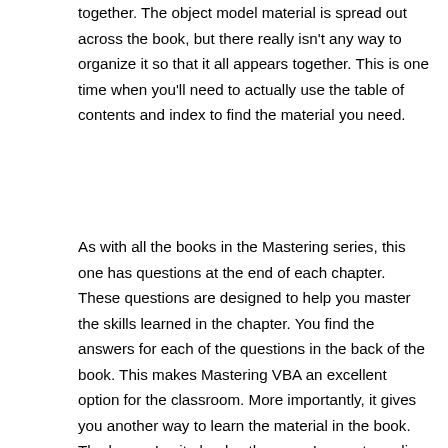together. The object model material is spread out across the book, but there really isn't any way to organize it so that it all appears together. This is one time when you'll need to actually use the table of contents and index to find the material you need.
As with all the books in the Mastering series, this one has questions at the end of each chapter. These questions are designed to help you master the skills learned in the chapter. You find the answers for each of the questions in the back of the book. This makes Mastering VBA an excellent option for the classroom. More importantly, it gives you another way to learn the material in the book. The longer I write books, the more I come to realize that one or two methods of learning simply won't do the job. This book usually provides three or four ways to learn each task, which means that you have a higher probability of actually mastering the material (as